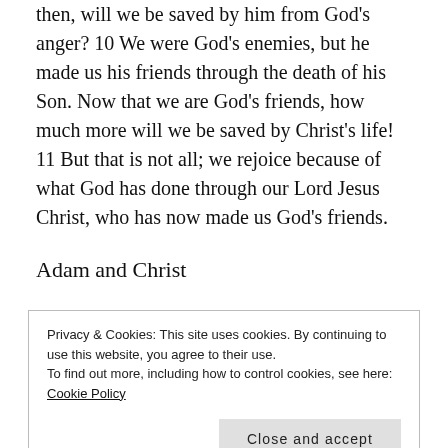then, will we be saved by him from God's anger? 10 We were God's enemies, but he made us his friends through the death of his Son. Now that we are God's friends, how much more will we be saved by Christ's life! 11 But that is not all; we rejoice because of what God has done through our Lord Jesus Christ, who has now made us God's friends.
Adam and Christ
12 Sin came into the world through one man, and his sin brought death with it. As a result, death has spread to the
Privacy & Cookies: This site uses cookies. By continuing to use this website, you agree to their use.
To find out more, including how to control cookies, see here: Cookie Policy
Close and accept
over all human beings, even over those who did not sin